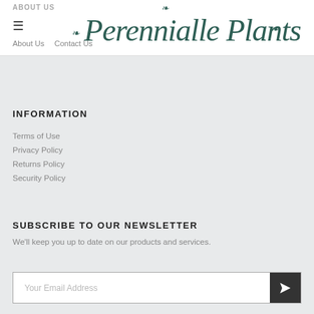ABOUT US
Perennialle Plants
About Us
Contact Us
INFORMATION
Terms of Use
Privacy Policy
Returns Policy
Security Policy
SUBSCRIBE TO OUR NEWSLETTER
We'll keep you up to date on our products and services.
Your Email Address